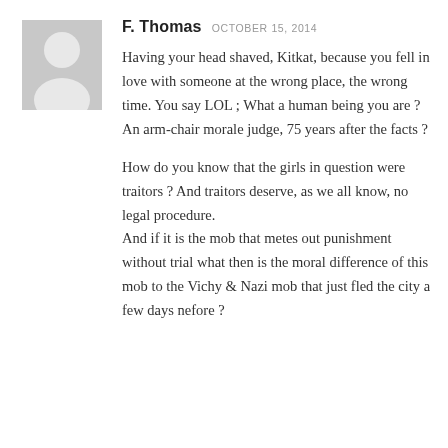[Figure (illustration): Gray placeholder avatar icon showing a silhouette of a person (head and shoulders) on a light gray background]
F. Thomas   OCTOBER 15, 2014
Having your head shaved, Kitkat, because you fell in love with someone at the wrong place, the wrong time. You say LOL ; What a human being you are ? An arm-chair morale judge, 75 years after the facts ?
How do you know that the girls in question were traitors ? And traitors deserve, as we all know, no legal procedure.
And if it is the mob that metes out punishment without trial what then is the moral difference of this mob to the Vichy & Nazi mob that just fled the city a few days nefore ?